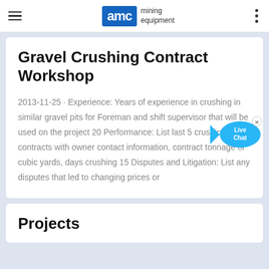AMC mining equipment
Gravel Crushing Contract Workshop
2013-11-25 · Experience: Years of experience in crushing in similar gravel pits for Foreman and shift supervisor that will be used on the project 20 Performance: List last 5 crushing contracts with owner contact information, contract tonnage or cubic yards, days crushing 15 Disputes and Litigation: List any disputes that led to changing prices or
[Figure (other): Live Chat bubble widget in cyan/blue color]
Projects